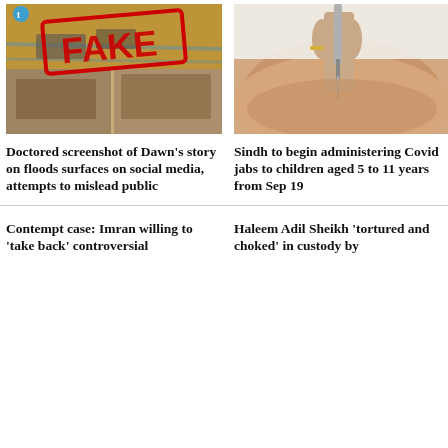[Figure (photo): Collage of flood images with a red FAKE stamp overlay on a social media screenshot]
[Figure (photo): Close-up of a child receiving a Covid vaccine injection in the arm]
Doctored screenshot of Dawn's story on floods surfaces on social media, attempts to mislead public
Sindh to begin administering Covid jabs to children aged 5 to 11 years from Sep 19
[Figure (photo): Imran Khan speaking at a nighttime rally holding a microphone, wearing a black waistcoat]
[Figure (photo): Haleem Adil Sheikh appearing disheveled in custody, with another person nearby]
Contempt case: Imran willing to 'take back' controversial
Haleem Adil Sheikh 'tortured and choked' in custody by